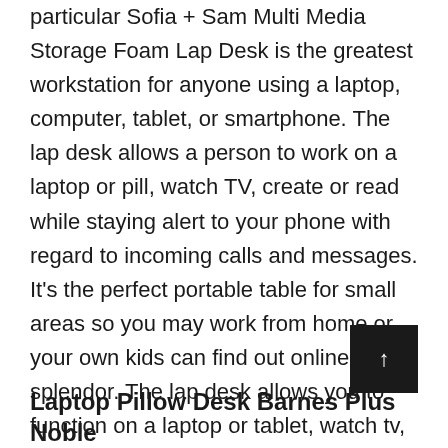particular Sofia + Sam Multi Media Storage Foam Lap Desk is the greatest workstation for anyone using a laptop, computer, tablet, or smartphone. The lap desk allows a person to work on a laptop or pill, watch TV, create or read while staying alert to your phone with regard to incoming calls and messages. It's the perfect portable table for small areas so you may work from home or your own kids can find out online within splendor. The lap desk allows you to function on a laptop or tablet, watch tv, write or read while keeping alert to your own phone for inbound calls and text messages.
Laptop Pillow Desk Barnes Plus Noble